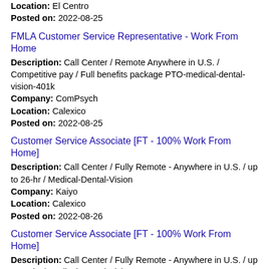Location: El Centro
Posted on: 2022-08-25
FMLA Customer Service Representative - Work From Home
Description: Call Center / Remote Anywhere in U.S. / Competitive pay / Full benefits package PTO-medical-dental-vision-401k
Company: ComPsych
Location: Calexico
Posted on: 2022-08-25
Customer Service Associate [FT - 100% Work From Home]
Description: Call Center / Fully Remote - Anywhere in U.S. / up to 26-hr / Medical-Dental-Vision
Company: Kaiyo
Location: Calexico
Posted on: 2022-08-26
Customer Service Associate [FT - 100% Work From Home]
Description: Call Center / Fully Remote - Anywhere in U.S. / up to 26-hr / Medical-Dental-Vision
Company: Kaiyo
Location: El Centro
Posted on: 2022-08-26